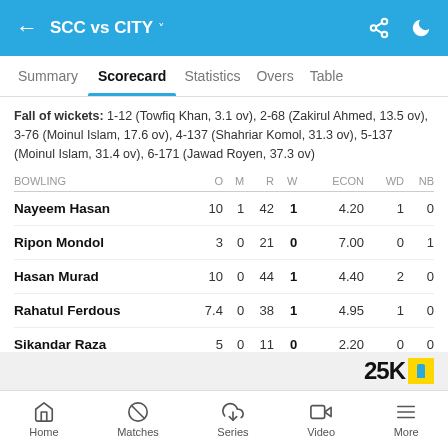SCC vs CITY
Summary  Scorecard  Statistics  Overs  Table
Fall of wickets: 1-12 (Towfiq Khan, 3.1 ov), 2-68 (Zakirul Ahmed, 13.5 ov), 3-76 (Moinul Islam, 17.6 ov), 4-137 (Shahriar Komol, 31.3 ov), 5-137 (Moinul Islam, 31.4 ov), 6-171 (Jawad Royen, 37.3 ov)
| BOWLING | O | M | R | W | ECON | WD | NB |
| --- | --- | --- | --- | --- | --- | --- | --- |
| Nayeem Hasan | 10 | 1 | 42 | 1 | 4.20 | 1 | 0 |
| Ripon Mondol | 3 | 0 | 21 | 0 | 7.00 | 0 | 1 |
| Hasan Murad | 10 | 0 | 44 | 1 | 4.40 | 2 | 0 |
| Rahatul Ferdous | 7.4 | 0 | 38 | 1 | 4.95 | 1 | 0 |
| Sikandar Raza | 5 | 0 | 11 | 0 | 2.20 | 0 | 0 |
| Tasamul Haque | 5 | 0 | 21 | 3 | 4.20 | 0 | 0 |
Home  Matches  Series  Video  More